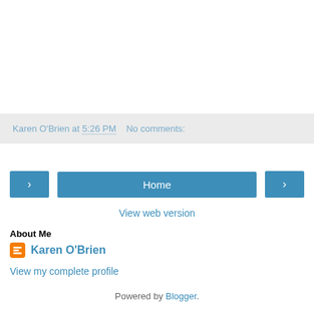Karen O'Brien at 5:26 PM   No comments:
< Home >
View web version
About Me
Karen O'Brien
View my complete profile
Powered by Blogger.